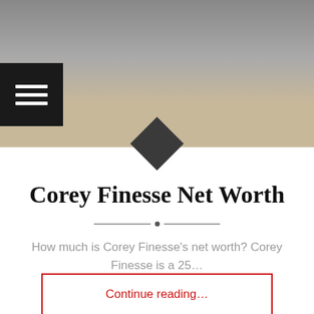[Figure (photo): Photo of Corey Finesse cropped at top showing face, with a hamburger menu icon overlay on the left side and a dark diamond shape at bottom center of image.]
Corey Finesse Net Worth
How much is Corey Finesse's net worth? Corey Finesse is a 25…
Continue reading…